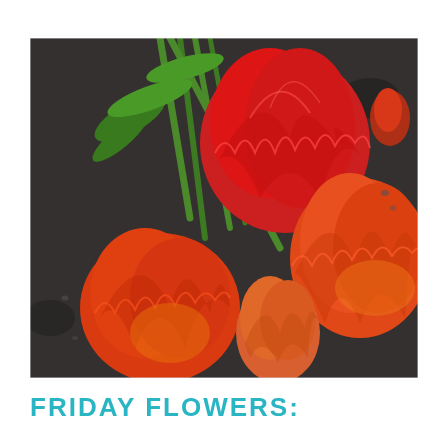[Figure (photo): A bouquet of red and orange parrot tulips with green stems and leaves, arranged on a dark slate surface. The flowers have ruffled, frilly petals in shades of red, orange, and pink.]
FRIDAY FLOWERS: